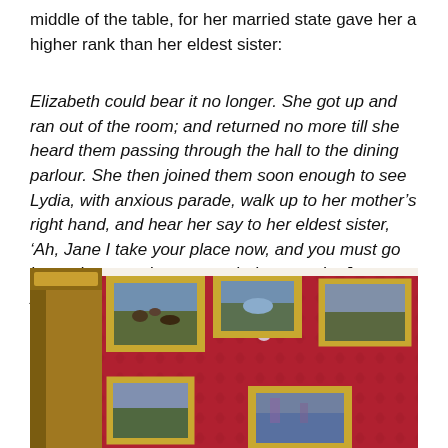middle of the table, for her married state gave her a higher rank than her eldest sister:
Elizabeth could bear it no longer. She got up and ran out of the room; and returned no more till she heard them passing through the hall to the dining parlour. She then joined them soon enough to see Lydia, with anxious parade, walk up to her mother's right hand, and hear her say to her eldest sister, 'Ah, Jane I take your place now, and you must go lower, because I am a married woman.' – Jane Austen, Pride and Prejudice
[Figure (photo): Interior room with red damask walls hung with multiple landscape paintings in ornate gold frames, a crystal chandelier, and a wooden door frame visible on the left.]